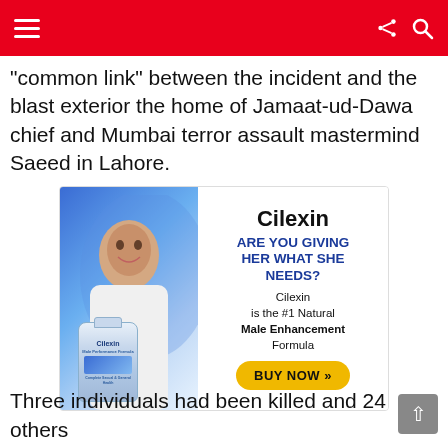Navigation header with hamburger menu, share icon, and search icon
“common link” between the incident and the blast exterior the home of Jamaat-ud-Dawa chief and Mumbai terror assault mastermind Saeed in Lahore.
[Figure (advertisement): Cilexin male enhancement advertisement featuring a woman and a supplement bottle. Text: Cilexin, ARE YOU GIVING HER WHAT SHE NEEDS?, Cilexin is the #1 Natural Male Enhancement Formula, BUY NOW >>]
Three individuals had been killed and 24 others